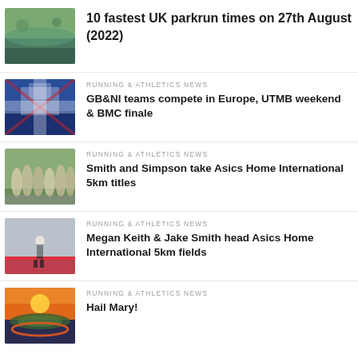[Figure (photo): Parkrun scenic water/park photo thumbnail]
10 fastest UK parkrun times on 27th August (2022)
[Figure (photo): GB&NI team photo with Union Jack flags thumbnail]
RUNNING & ATHLETICS NEWS
GB&NI teams compete in Europe, UTMB weekend & BMC finale
[Figure (photo): Road race start group of runners thumbnail]
RUNNING & ATHLETICS NEWS
Smith and Simpson take Asics Home International 5km titles
[Figure (photo): Street race finish line photo thumbnail]
RUNNING & ATHLETICS NEWS
Megan Keith & Jake Smith head Asics Home International 5km fields
[Figure (photo): Stadium at sunset photo thumbnail]
RUNNING & ATHLETICS NEWS
Hail Mary!